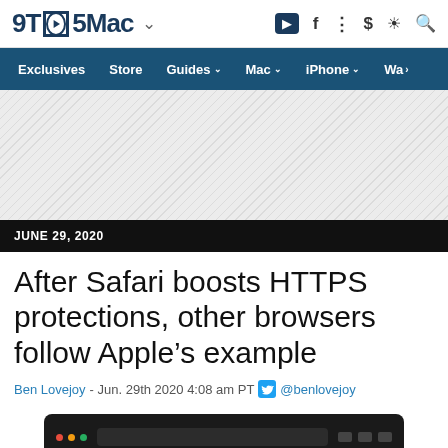9TO5Mac
Exclusives  Store  Guides  Mac  iPhone  Wa
[Figure (other): Advertisement banner area with diagonal stripe pattern]
JUNE 29, 2020
After Safari boosts HTTPS protections, other browsers follow Apple's example
Ben Lovejoy - Jun. 29th 2020 4:08 am PT @benlovejoy
[Figure (screenshot): Partial screenshot of a browser window visible at the bottom of the page]